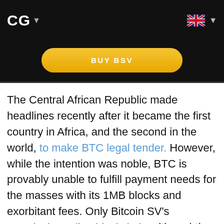CG ▾
[Figure (other): BUY BSV button - orange/gold rounded pill button on black background]
The Central African Republic made headlines recently after it became the first country in Africa, and the second in the world, to make BTC legal tender. However, while the intention was noble, BTC is provably unable to fulfill payment needs for the masses with its 1MB blocks and exorbitant fees. Only Bitcoin SV's massively scaling blockchain with real-time transactions and low fees can fill the gap
We use cookies to ensure that we give you the best experience on our website. If you continue to use this site we will assume that you are happy with it.